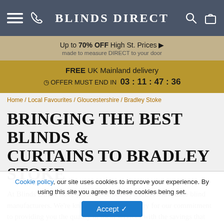BLINDS DIRECT
Up to 70% OFF High St. Prices
made to measure DIRECT to your door
FREE UK Mainland delivery
⊙ OFFER MUST END IN  03 : 11 : 47 : 36
Home / Local Favourites / Gloucestershire / Bradley Stoke
BRINGING THE BEST BLINDS & CURTAINS TO BRADLEY STOKE
At Blinds Direct we're proud to be one of the UK's favourite blind manufacturers. We're known across the country for our commitment to providing you the quality of local services with the savings that only a
Cookie policy, our site uses cookies to improve your experience. By using this site you agree to these cookies being set.